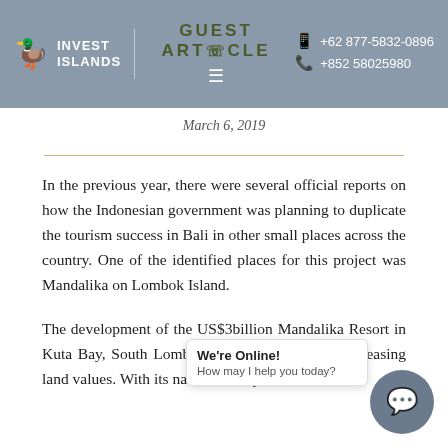INVEST ISLANDS | GUEST ARTICLE | +62 877-5832-0896 | +852 58025980
March 6, 2019
In the previous year, there were several official reports on how the Indonesian government was planning to duplicate the tourism success in Bali in other small places across the country. One of the identified places for this project was Mandalika on Lombok Island.
The development of the US$3billion Mandalika Resort in Kuta Bay, South Lombok is a major driver in increasing land values. With its natural beauty